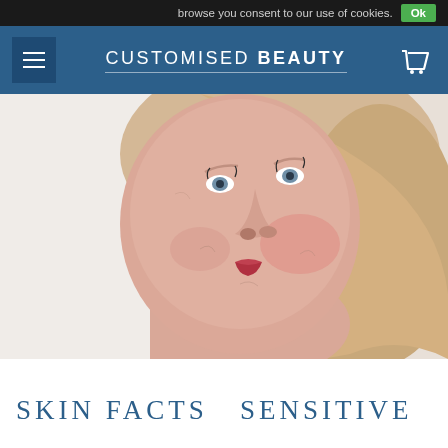browse you consent to our use of cookies. Ok
CUSTOMISED BEAUTY
[Figure (photo): Close-up photo of a middle-aged woman with blonde hair, looking upward, showing skin texture with redness on cheeks against a white/light background]
SKIN FACTS – SENSITIVE